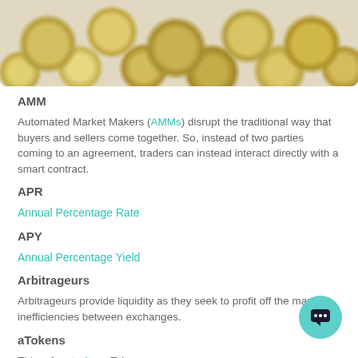[Figure (photo): Photo of scattered gold and silver coins viewed from above]
AMM
Automated Market Makers (AMMs) disrupt the traditional way that buyers and sellers come together. So, instead of two parties coming to an agreement, traders can instead interact directly with a smart contract.
APR
Annual Percentage Rate
APY
Annual Percentage Yield
Arbitrageurs
Arbitrageurs provide liquidity as they seek to profit off the market inefficiencies between exchanges.
aTokens
This refers to Aave Tokens.